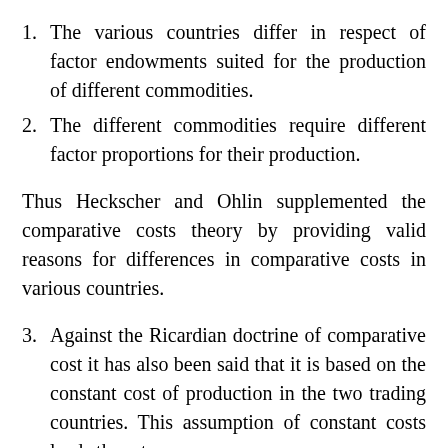1. The various countries differ in respect of factor endowments suited for the production of different commodities.
2. The different commodities require different factor proportions for their production.
Thus Heckscher and Ohlin supplemented the comparative costs theory by providing valid reasons for differences in comparative costs in various countries.
3. Against the Ricardian doctrine of comparative cost it has also been said that it is based on the constant cost of production in the two trading countries. This assumption of constant costs leads them to